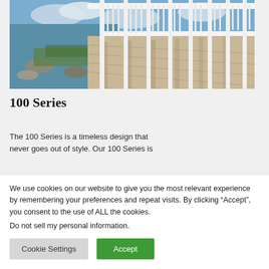[Figure (photo): White railing/fence along a waterside boardwalk or deck, with water and rocks visible in the background and a blue sky with clouds]
100 Series
The 100 Series is a timeless design that never goes out of style. Our 100 Series is
We use cookies on our website to give you the most relevant experience by remembering your preferences and repeat visits. By clicking “Accept”, you consent to the use of ALL the cookies.
Do not sell my personal information.